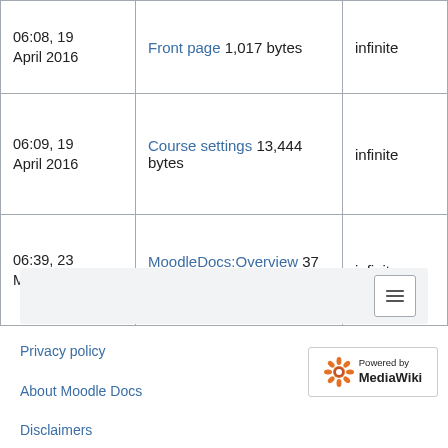| Date | Page | Expires |
| --- | --- | --- |
| 06:08, 19 April 2016 | Front page 1,017 bytes | infinite |
| 06:09, 19 April 2016 | Course settings 13,444 bytes | infinite |
| 06:39, 23 May 2016 | MoodleDocs:Overview 37 bytes | infinite |
[Figure (other): Navigation menu button bar with hamburger icon]
Privacy policy
About Moodle Docs
Disclaimers
[Figure (logo): Powered by MediaWiki logo badge]